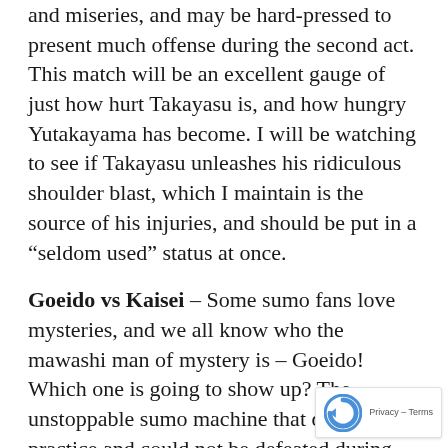and miseries, and may be hard-pressed to present much offense during the second act. This match will be an excellent gauge of just how hurt Takayasu is, and how hungry Yutakayama has become. I will be watching to see if Takayasu unleashes his ridiculous shoulder blast, which I maintain is the source of his injuries, and should be put in a “seldom used” status at once.
Goeido vs Kaisei – Some sumo fans love mysteries, and we all know who the mawashi man of mystery is – Goeido! Which one is going to show up? The unstoppable sumo machine that dominates practice and could not be defeated during Aki 2016? Or the hesitant, vague and un-genki Goeido that frustrates